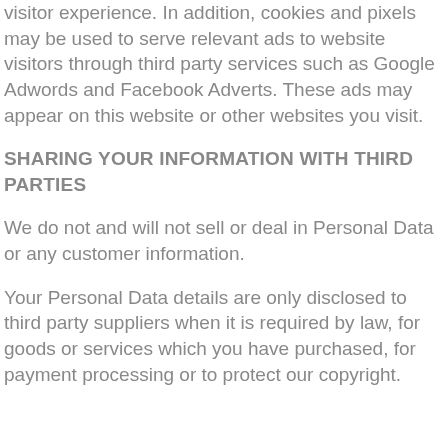visitor experience. In addition, cookies and pixels may be used to serve relevant ads to website visitors through third party services such as Google Adwords and Facebook Adverts. These ads may appear on this website or other websites you visit.
SHARING YOUR INFORMATION WITH THIRD PARTIES
We do not and will not sell or deal in Personal Data or any customer information.
Your Personal Data details are only disclosed to third party suppliers when it is required by law, for goods or services which you have purchased, for payment processing or to protect our copyright.